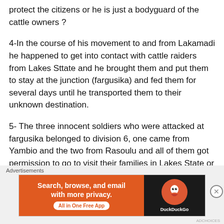protect the citizens or he is just a bodyguard of the cattle owners ?
4-In the course of his movement to and from Lakamadi he happened to get into contact with cattle raiders from Lakes Sttate and he brought them and put them to stay at the junction (fargusika) and fed them for several days until he transported them to their unknown destination.
5- The three innocent soldiers who were attacked at fargusika belonged to division 6, one came from Yambio and the two from Rasoulu and all of them got permission to go to visit their families in Lakes State or elsewhere. As usually, those travelling to Rumbek gather to the fargusika to wait
[Figure (other): DuckDuckGo advertisement banner: Search, browse, and email with more privacy. All in One Free App. Shows DuckDuckGo logo on dark background.]